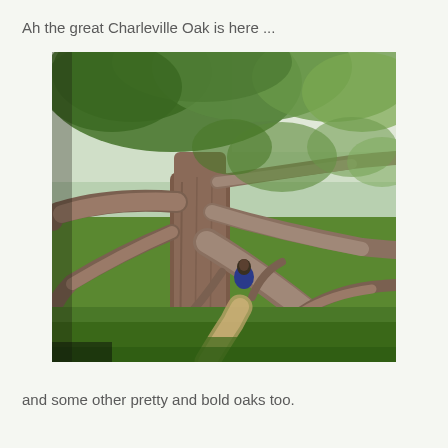Ah the great Charleville Oak is here ...
[Figure (photo): Photograph of the Charleville Oak, a large ancient oak tree with massive spreading branches extending horizontally across a grassy field. A person can be seen sitting in the branches. The scene is lush and green with a dirt path visible beneath the branches.]
and some other pretty and bold oaks too.